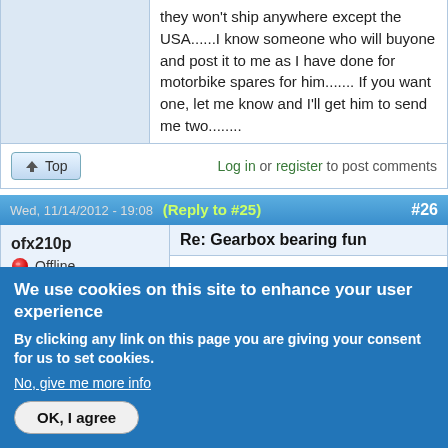they won't ship anywhere except the USA......I know someone who will buy one and post it to me as I have done for motorbike spares for him....... If you want one, let me know and I'll get him to send me two........
Top | Log in or register to post comments
Wed, 11/14/2012 - 19:08  (Reply to #25)  #26
ofx210p
Offline
Last seen: 6 years 7 months ago
Joined: Monday, October 20, 2008 -
Re: Gearbox bearing fun
Quite simply, i fitted one only to find the rear was simply harder to spin even without the rest of the gearbox fitted. I then proceeded to fit the rest of the gearbox and
We use cookies on this site to enhance your user experience
By clicking any link on this page you are giving your consent for us to set cookies.
No, give me more info
OK, I agree